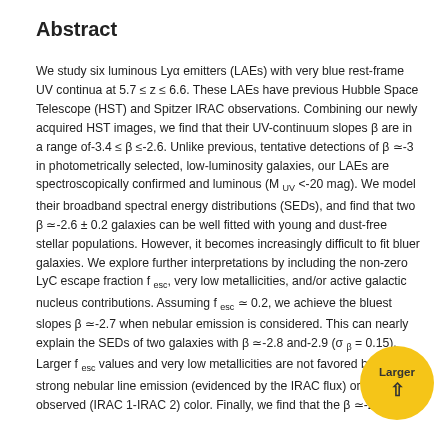Abstract
We study six luminous Lyα emitters (LAEs) with very blue rest-frame UV continua at 5.7 ≤ z ≤ 6.6. These LAEs have previous Hubble Space Telescope (HST) and Spitzer IRAC observations. Combining our newly acquired HST images, we find that their UV-continuum slopes β are in a range of-3.4 ≤ β ≤-2.6. Unlike previous, tentative detections of β ≃-3 in photometrically selected, low-luminosity galaxies, our LAEs are spectroscopically confirmed and luminous (M UV <-20 mag). We model their broadband spectral energy distributions (SEDs), and find that two β ≃-2.6 ± 0.2 galaxies can be well fitted with young and dust-free stellar populations. However, it becomes increasingly difficult to fit bluer galaxies. We explore further interpretations by including the non-zero LyC escape fraction f esc, very low metallicities, and/or active galactic nucleus contributions. Assuming f esc ≃ 0.2, we achieve the bluest slopes β ≃-2.7 when nebular emission is considered. This can nearly explain the SEDs of two galaxies with β ≃-2.8 and-2.9 (σ β = 0.15). Larger f esc values and very low metallicities are not favored by the strong nebular line emission (evidenced by the IRAC flux) or the observed (IRAC 1-IRAC 2) color. Finally, we find that the β ≃-2.9